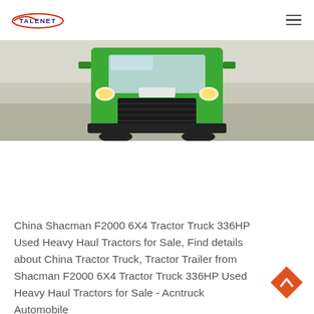TALENET
[Figure (photo): Front view of a green Shacman F2000 6X4 tractor truck parked on a road, photographed from the front showing the cab and grille.]
China Shacman F2000 6X4 Tractor Truck 336HP Used Heavy Haul Tractors for Sale, Find details about China Tractor Truck, Tractor Trailer from Shacman F2000 6X4 Tractor Truck 336HP Used Heavy Haul Tractors for Sale - Acntruck Automobile